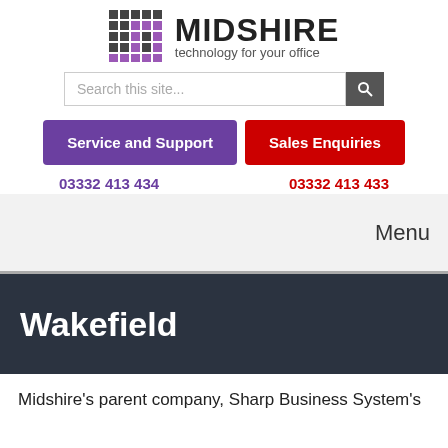[Figure (logo): Midshire logo with bar chart icon and text 'MIDSHIRE technology for your office']
Search this site...
Service and Support
Sales Enquiries
03332 413 434
03332 413 433
Menu
Wakefield
Midshire's parent company, Sharp Business System's